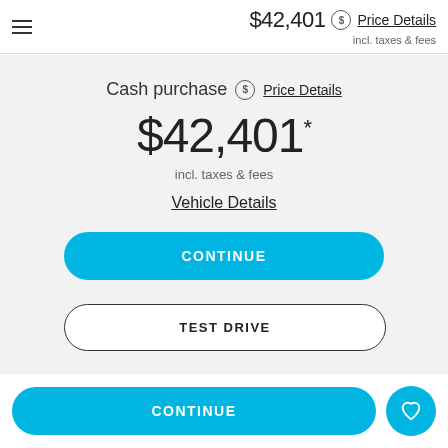$42,401 Price Details incl. taxes & fees
Cash purchase  Price Details
$42,401*
incl. taxes & fees
Vehicle Details
CONTINUE
TEST DRIVE
SAVE
CONTINUE